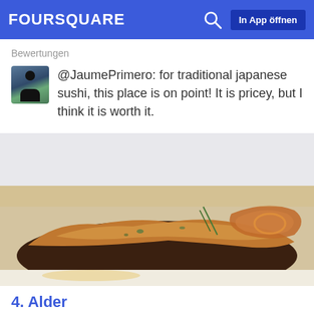FOURSQUARE  In App öffnen
Bewertungen
@JaumePrimero: for traditional japanese sushi, this place is on point! It is pricey, but I think it is worth it.
[Figure (photo): Close-up photo of a plated food dish, appears to be a meat or fish dish with crispy toppings on a white plate]
4. Alder
157 2nd Ave (btwn 9th & 10th St), New York City